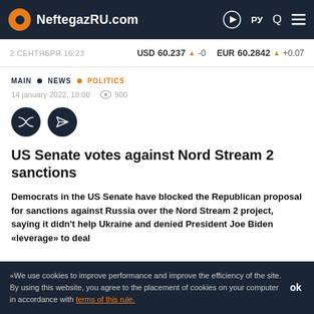NeftegazRU.com
2 СЕНТЯБРЯ 16:23   USD 60.237 ▲ -0   EUR 60.2842 ▲ +0.07
MAIN • NEWS • POLITICS
14 january 2022, 18:00  👁 900
US Senate votes against Nord Stream 2 sanctions
Democrats in the US Senate have blocked the Republican proposal for sanctions against Russia over the Nord Stream 2 project, saying it didn't help Ukraine and denied President Joe Biden «leverage» to deal
«We use cookies to improve performance and improve the efficiency of the site. By using this website, you agree to the placement of cookies on your computer in accordance with terms of this rule.